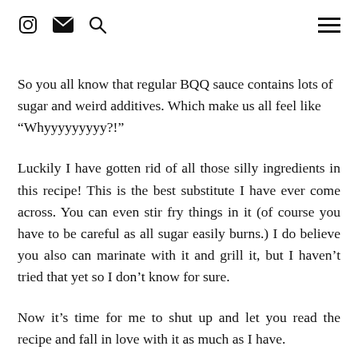[Instagram icon] [Mail icon] [Search icon] [Hamburger menu]
So you all know that regular BQQ sauce contains lots of sugar and weird additives. Which make us all feel like “Whyyyyyyyyy?!”
Luckily I have gotten rid of all those silly ingredients in this recipe! This is the best substitute I have ever come across. You can even stir fry things in it (of course you have to be careful as all sugar easily burns.) I do believe you also can marinate with it and grill it, but I haven’t tried that yet so I don’t know for sure.
Now it’s time for me to shut up and let you read the recipe and fall in love with it as much as I have.